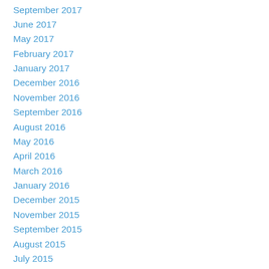September 2017
June 2017
May 2017
February 2017
January 2017
December 2016
November 2016
September 2016
August 2016
May 2016
April 2016
March 2016
January 2016
December 2015
November 2015
September 2015
August 2015
July 2015
June 2015
May 2015
April 2015